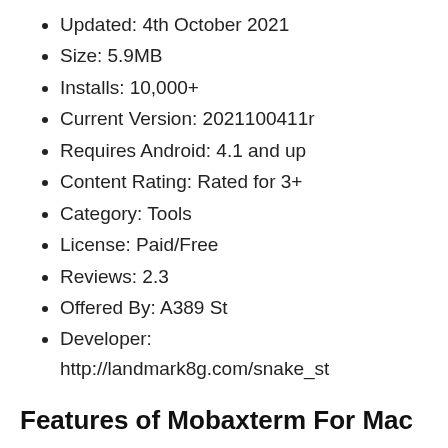Updated: 4th October 2021
Size: 5.9MB
Installs: 10,000+
Current Version: 2021100411r
Requires Android: 4.1 and up
Content Rating: Rated for 3+
Category: Tools
License: Paid/Free
Reviews: 2.3
Offered By: A389 St
Developer: http://landmark8g.com/snake_st
Features of Mobaxterm For Mac
There are lots of features available in mobaxterm software. It gives nearly more than 10 tools and here we are sharing some of its features: